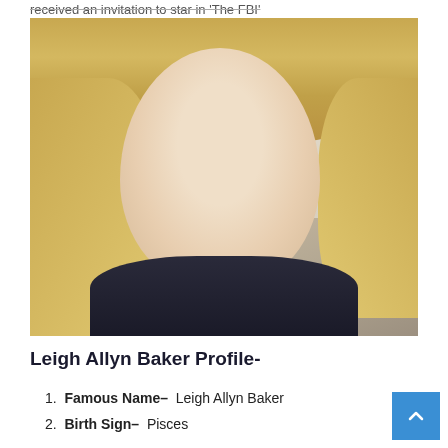received an invitation to star in 'The FBI'
[Figure (photo): Portrait photo of Leigh Allyn Baker, a blonde woman with blue eyes, smiling, in a home interior setting]
Leigh Allyn Baker Profile-
1. Famous Name– Leigh Allyn Baker
2. Birth Sign– Pisces